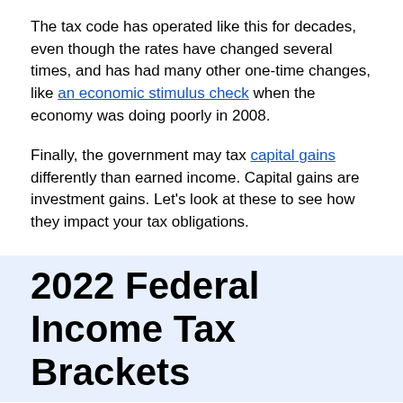The tax code has operated like this for decades, even though the rates have changed several times, and has had many other one-time changes, like an economic stimulus check when the economy was doing poorly in 2008.
Finally, the government may tax capital gains differently than earned income. Capital gains are investment gains. Let's look at these to see how they impact your tax obligations.
2022 Federal Income Tax Brackets
Here are the current tax rates.
Understanding your current tax bracket is useful for tax